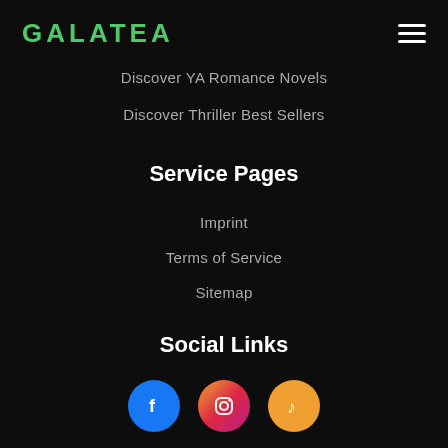GALATEA
Discover YA Romance Novels
Discover Thriller Best Sellers
Service Pages
Imprint
Terms of Service
Sitemap
Social Links
[Figure (illustration): Three social media icons in circles: Facebook (blue), Instagram (pink/purple gradient), TikTok (orange)]